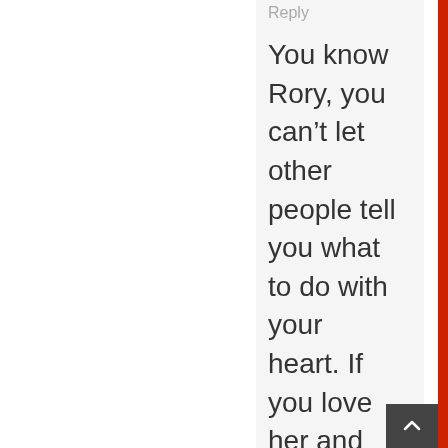Reply
You know Rory, you can’t let other people tell you what to do with your heart. If you love her and she’s worth the price, then you pay it.